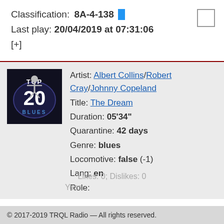Classification: 8A-4-138
Last play: 20/04/2019 at 07:31:06
[+]
Artist: Albert Collins/Robert Cray/Johnny Copeland
Title: The Dream
Duration: 05'34"
Quarantine: 42 days
Genre: blues
Locomotive: false (-1)
Lang: en
Role:
Likes: 0; Dislikes: 0
Year:
© 2017-2019 TRQL Radio — All rights reserved.